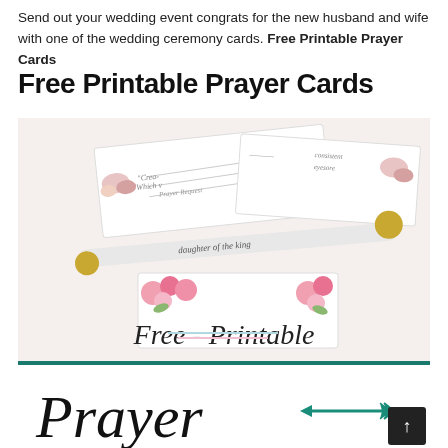Send out your wedding event congrats for the new husband and wife with one of the wedding ceremony cards. Free Printable Prayer Cards
Free Printable Prayer Cards
[Figure (photo): Photo of floral prayer cards with cursive text and a decorative pen on a white background, with 'Free - Printable' text overlay at the bottom]
[Figure (photo): Close-up of a printable prayer card design with 'Prayer' in cursive script and a teal arrow decoration]